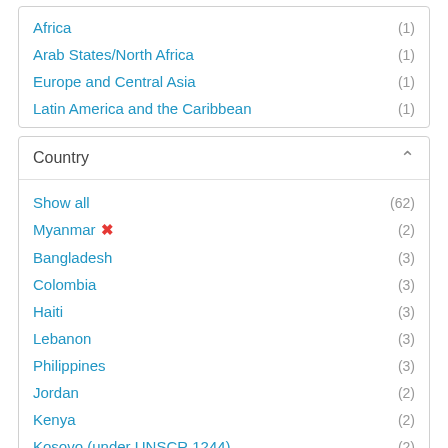Africa (1)
Arab States/North Africa (1)
Europe and Central Asia (1)
Latin America and the Caribbean (1)
Country
Show all (62)
Myanmar ✕ (2)
Bangladesh (3)
Colombia (3)
Haiti (3)
Lebanon (3)
Philippines (3)
Jordan (2)
Kenya (2)
Kosovo (under UNSCR 1244) (2)